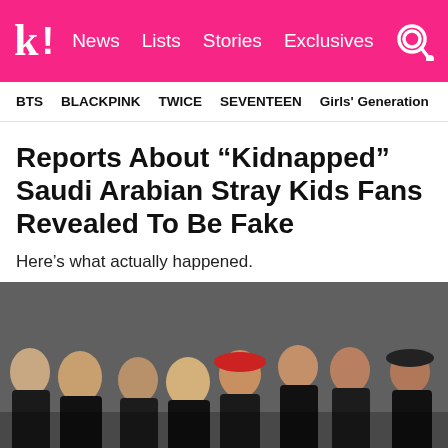k! News Lists Stories Exclusives
BTS  BLACKPINK  TWICE  SEVENTEEN  Girls' Generation
Reports About “Kidnapped” Saudi Arabian Stray Kids Fans Revealed To Be Fake
Here’s what actually happened.
[Figure (photo): Group photo of Stray Kids members dressed in dark/black clothing, some wearing hats or berets, posed against a grey wall background.]